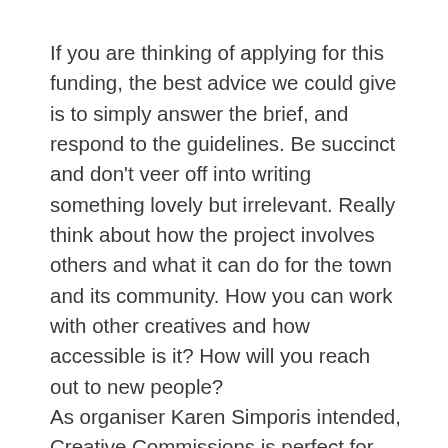If you are thinking of applying for this funding, the best advice we could give is to simply answer the brief, and respond to the guidelines. Be succinct and don't veer off into writing something lovely but irrelevant. Really think about how the project involves others and what it can do for the town and its community. How you can work with other creatives and how accessible is it? How will you reach out to new people?
As organiser Karen Simporis intended, Creative Commissions is perfect for those who haven't received any funding before. Plus it really helps for your applications elsewhere in future.